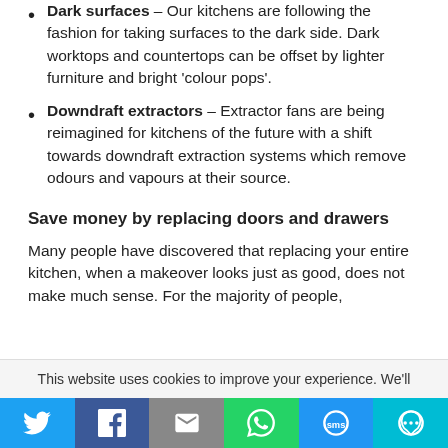Dark surfaces – Our kitchens are following the fashion for taking surfaces to the dark side. Dark worktops and countertops can be offset by lighter furniture and bright 'colour pops'.
Downdraft extractors – Extractor fans are being reimagined for kitchens of the future with a shift towards downdraft extraction systems which remove odours and vapours at their source.
Save money by replacing doors and drawers
Many people have discovered that replacing your entire kitchen, when a makeover looks just as good, does not make much sense. For the majority of people,
This website uses cookies to improve your experience. We'll